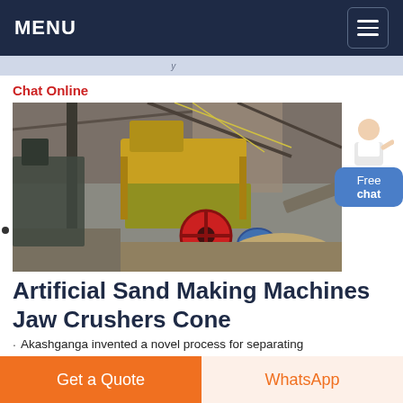MENU
Chat Online
[Figure (photo): Industrial jaw crusher / sand making machine photographed from above in a mining facility. Yellow and grey heavy machinery with red flywheel, blue motor, conveyor belts, and piles of crushed stone/sand in background.]
Artificial Sand Making Machines Jaw Crushers Cone
Akashganga invented a novel process for separating
Get a Quote
WhatsApp